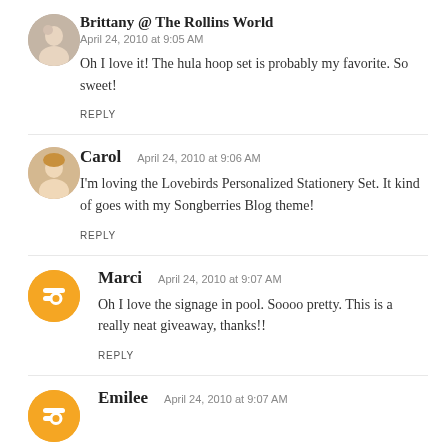Brittany @ The Rollins World — April 24, 2010 at 9:05 AM
Oh I love it! The hula hoop set is probably my favorite. So sweet!
REPLY
Carol — April 24, 2010 at 9:06 AM
I'm loving the Lovebirds Personalized Stationery Set. It kind of goes with my Songberries Blog theme!
REPLY
Marci — April 24, 2010 at 9:07 AM
Oh I love the signage in pool. Soooo pretty. This is a really neat giveaway, thanks!!
REPLY
Emilee — April 24, 2010 at 9:07 AM